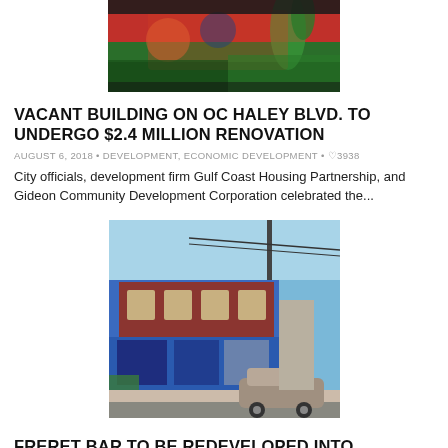[Figure (photo): Colorful mural on a building wall with tropical/artistic imagery]
VACANT BUILDING ON OC HALEY BLVD. TO UNDERGO $2.4 MILLION RENOVATION
AUGUST 6, 2018 • DEVELOPMENT, ECONOMIC DEVELOPMENT • ♡3938
City officials, development firm Gulf Coast Housing Partnership, and Gideon Community Development Corporation celebrated the...
[Figure (photo): Street corner view of a two-story blue and brick commercial building with a car parked outside]
FRERET BAR TO BE REDEVELOPED INTO GROCERY STORE & CONDOS